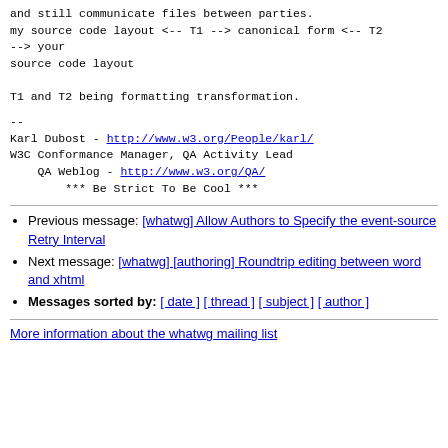and still communicate files between parties.
my source code layout <-- T1 --> canonical form <-- T2 --> your
source code layout

T1 and T2 being formatting transformation.
--
Karl Dubost - http://www.w3.org/People/karl/
W3C Conformance Manager, QA Activity Lead
    QA Weblog - http://www.w3.org/QA/
        *** Be Strict To Be Cool ***
Previous message: [whatwg] Allow Authors to Specify the event-source Retry Interval
Next message: [whatwg] [authoring] Roundtrip editing between word and xhtml
Messages sorted by: [ date ] [ thread ] [ subject ] [ author ]
More information about the whatwg mailing list